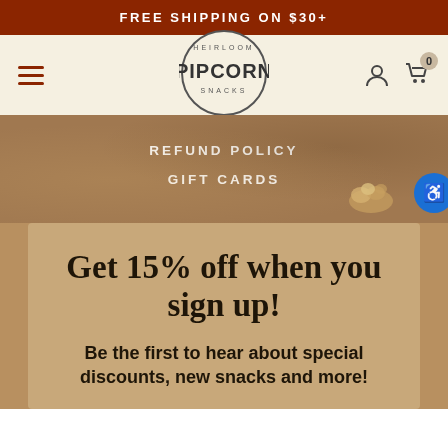FREE SHIPPING ON $30+
[Figure (logo): Pipcorn Heirloom Snacks circular logo with hamburger menu, account icon, and cart icon with badge '0']
REFUND POLICY
GIFT CARDS
Get 15% off when you sign up!
Be the first to hear about special discounts, new snacks and more!